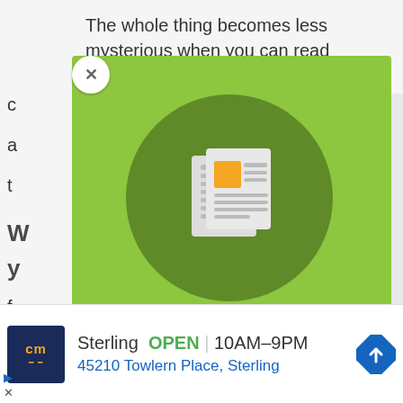The whole thing becomes less mysterious when you can read someone's personal stories.
[Figure (screenshot): A green popup overlay showing a newsletter subscription widget. It contains a dark green circle with a newspaper/newsletter icon (white pages with an orange square). Below the icon the text reads 'Subscribe To Our Newsletter' in bold white, and a subtitle reads 'Join our mailing list to receive occasional news and updates from Mind-Energy'. A close button (X) appears in the top-left corner of the popup.]
[Figure (infographic): Bottom advertisement strip with a dark blue logo showing 'cm' in orange, business name 'Sterling', status 'OPEN', hours '10AM–9PM', address '45210 Towlern Place, Sterling', and a blue navigation arrow icon on the right.]